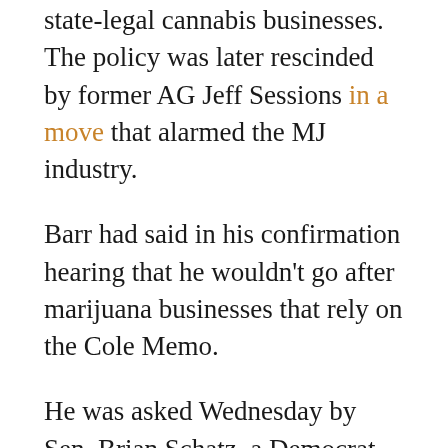state-legal cannabis businesses. The policy was later rescinded by former AG Jeff Sessions in a move that alarmed the MJ industry.
Barr had said in his confirmation hearing that he wouldn't go after marijuana businesses that rely on the Cole Memo.
He was asked Wednesday by Sen. Brian Schatz, a Democrat from Hawaii, whether the Justice Department would restore the Cole Memo if Congress can't come to an agreement on legislation.
“We’re going to have to make some